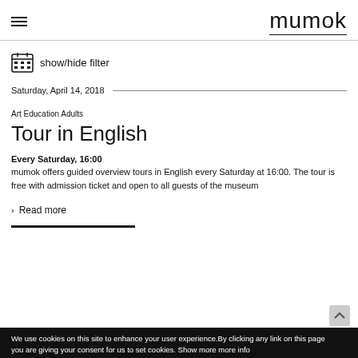mumok
show/hide filter
Saturday, April 14, 2018
Art Education Adults
Tour in English
Every Saturday, 16:00
mumok offers guided overview tours in English every Saturday at 16:00. The tour is free with admission ticket and open to all guests of the museum
> Read more
We use cookies on this site to enhance your user experience.By clicking any link on this page you are giving your consent for us to set cookies. Show more more info